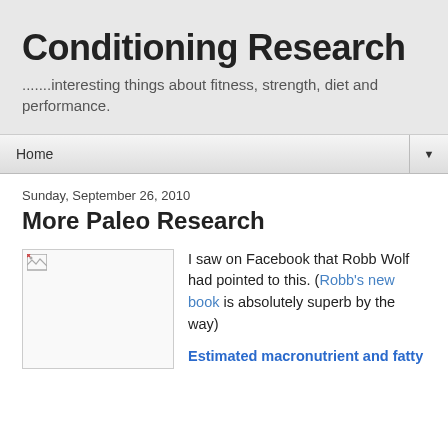Conditioning Research
.......interesting things about fitness, strength, diet and performance.
Home
Sunday, September 26, 2010
More Paleo Research
[Figure (photo): Broken/missing image placeholder]
I saw on Facebook that Robb Wolf had pointed to this. (Robb's new book is absolutely superb by the way)
Estimated macronutrient and fatty